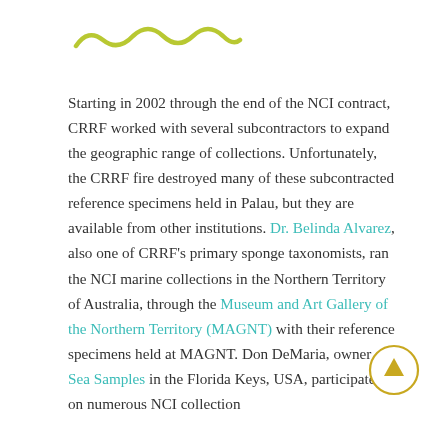[Figure (illustration): Decorative yellow-green wavy line graphic at top of page]
Starting in 2002 through the end of the NCI contract, CRRF worked with several subcontractors to expand the geographic range of collections. Unfortunately, the CRRF fire destroyed many of these subcontracted reference specimens held in Palau, but they are available from other institutions. Dr. Belinda Alvarez, also one of CRRF's primary sponge taxonomists, ran the NCI marine collections in the Northern Territory of Australia, through the Museum and Art Gallery of the Northern Territory (MAGNT) with their reference specimens held at MAGNT. Don DeMaria, owner of Sea Samples in the Florida Keys, USA, participated on numerous NCI collection